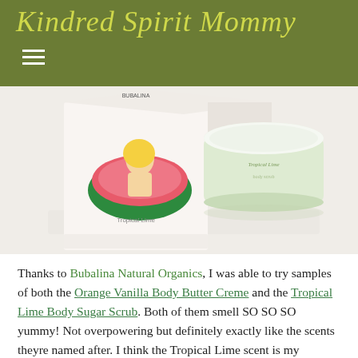Kindred Spirit Mommy
[Figure (photo): Product photo showing a white box with illustrated woman in watermelon design labeled 'Tropical Lime' next to a round white jar of Bubalina cream on a reflective surface]
Thanks to Bubalina Natural Organics, I was able to try samples of both the Orange Vanilla Body Butter Creme and the Tropical Lime Body Sugar Scrub. Both of them smell SO SO SO yummy! Not overpowering but definitely exactly like the scents theyre named after. I think the Tropical Lime scent is my favorite I looove lemon and lime scents and this is the ultimate. Its so